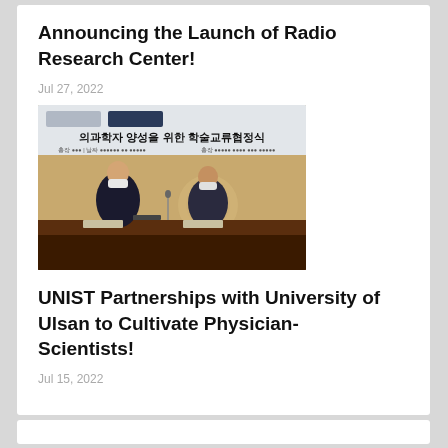Announcing the Launch of Radio Research Center!
Jul 27, 2022
[Figure (photo): Two men in suits and face masks seated at a conference table in front of a banner with Korean text reading: 의과학자 양성을 위한 학술교류협정식 (Academic Exchange Agreement Ceremony for Cultivating Physician-Scientists)]
UNIST Partnerships with University of Ulsan to Cultivate Physician-Scientists!
Jul 15, 2022